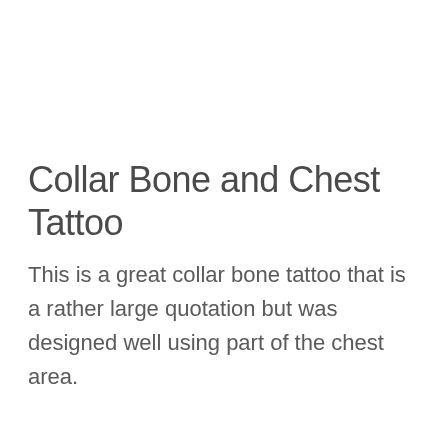Collar Bone and Chest Tattoo
This is a great collar bone tattoo that is a rather large quotation but was designed well using part of the chest area.